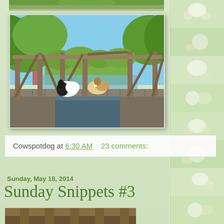[Figure (photo): Partial top strip of a photo showing greenery]
[Figure (photo): Two dogs (a black and white spaniel-type and a collie/sheltie) standing on a wooden bridge over water, surrounded by trees in summer]
Cowspotdog at 6:30 AM    23 comments:
Sunday, May 18, 2014
Sunday Snippets #3
[Figure (photo): Bottom partial photo showing what appears to be an outdoor/nature scene]